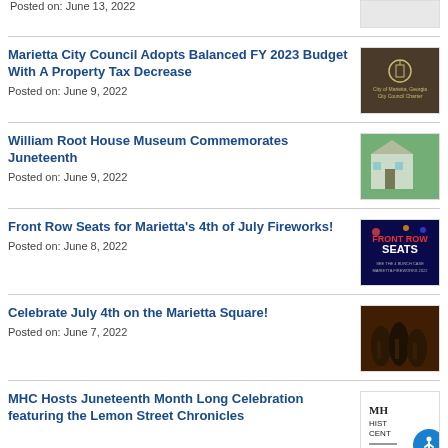Posted on: June 13, 2022
Marietta City Council Adopts Balanced FY 2023 Budget With A Property Tax Decrease
Posted on: June 9, 2022
William Root House Museum Commemorates Juneteenth
Posted on: June 9, 2022
Front Row Seats for Marietta's 4th of July Fireworks!
Posted on: June 8, 2022
Celebrate July 4th on the Marietta Square!
Posted on: June 7, 2022
MHC Hosts Juneteenth Month Long Celebration featuring the Lemon Street Chronicles